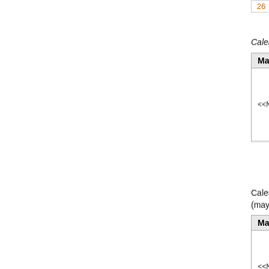|  |  |
| --- | --- |
| 26 | 27 | 28 |
Calendar of December, 2001:
| Markup | Result |
| --- | --- |
| <<MonthCalendar(,2001,12)>> | [Calendar widget: December 2001, Mon-Sun, rows 3-24,10-11,17-18,24-25] |
Calendar of the month two months after December, 2001: (maybe doesn't make much sense, but is possible)
| Markup | Result |
| --- | --- |
| <<MonthCalendar(,2001,12,+2)>> | [Calendar widget: February 2002, Mon-Sun, rows 5-6,12-13,19-20,26-27] |